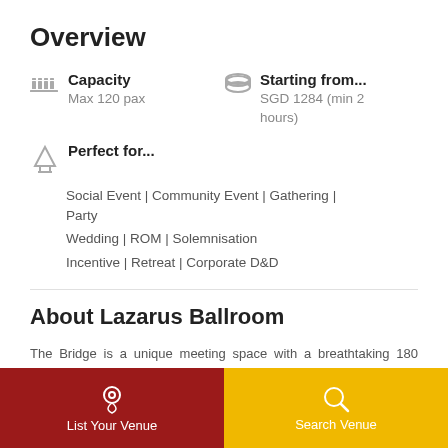Overview
Capacity
Max 120 pax
Starting from...
SGD 1284 (min 2 hours)
Perfect for...
Social Event | Community Event | Gathering | Party
Wedding | ROM | Solemnisation
Incentive | Retreat | Corporate D&D
About Lazarus Ballroom
The Bridge is a unique meeting space with a breathtaking 180 degree panoramic view of the sea. This well-lighted space with an enclosed air-conditioned function room and a curved outdoor veranda located on the second floor.
Perfect space for classes, meetings, team bonding events, retreats, private functions, product launches and
List Your Venue
Search Venue